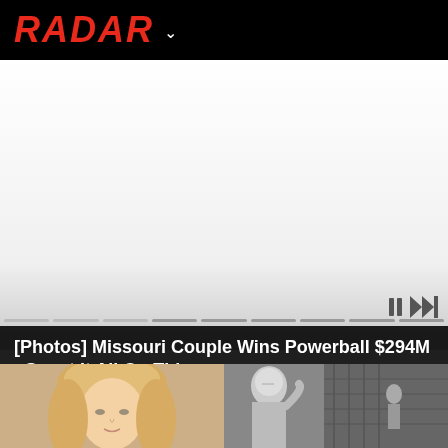RADAR
[Figure (screenshot): White/gray gradient video or slideshow player area with playback controls and a progress bar at the bottom]
[Photos] Missouri Couple Wins Powerball $294M - Spent It All On This
[Figure (photo): Two thumbnail images side by side: left shows a woman with blonde/strawberry hair in a color photo, right shows a black and white photo of a woman with a figure sculpture]